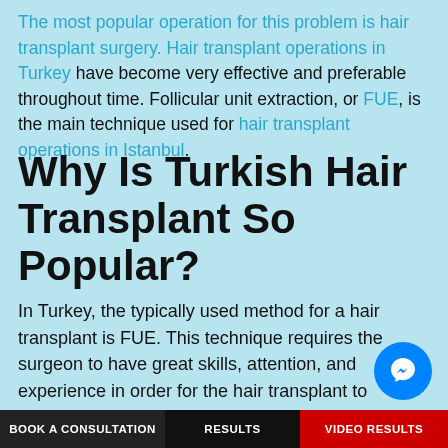The most popular operation for this problem is hair transplant surgery. Hair transplant operations in Turkey have become very effective and preferable throughout time. Follicular unit extraction, or FUE, is the main technique used for hair transplant operations in Istanbul.
Why Is Turkish Hair Transplant So Popular?
In Turkey, the typically used method for a hair transplant is FUE. This technique requires the surgeon to have great skills, attention, and experience in order for the hair transplant to become successful. During the FUE operation follicles are taken from the donor area of the
BOOK A CONSULTATION   RESULTS   VIDEO RESULTS